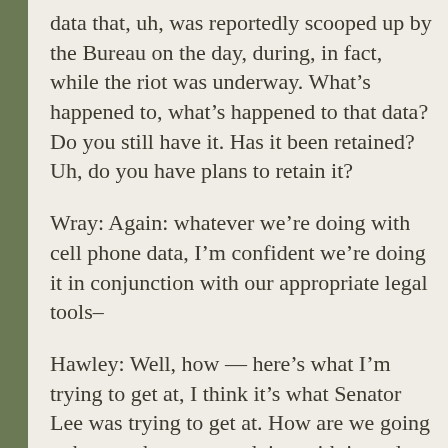data that, uh, was reportedly scooped up by the Bureau on the day, during, in fact, while the riot was underway. What’s happened to, what’s happened to that data? Do you still have it. Has it been retained? Uh, do you have plans to retain it?
Wray: Again: whatever we’re doing with cell phone data, I’m confident we’re doing it in conjunction with our appropriate legal tools–
Hawley: Well, how — here’s what I’m trying to get at, I think it’s what Senator Lee was trying to get at. How are we going to know what you are doing with it, and how are we going to evaluate the Bureau’s conduct if we